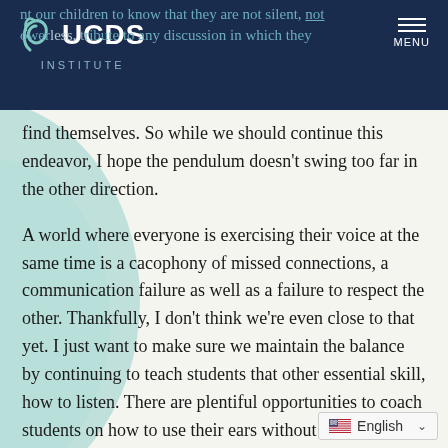UCDS INSTITUTE — Navigation header with logo and menu
ant our children to know that they are not silent, not powerless, contribute to any discussion in which they find themselves. So while we should continue this endeavor, I hope the pendulum doesn't swing too far in the other direction.
A world where everyone is exercising their voice at the same time is a cacophony of missed connections, a communication failure as well as a failure to respect the other. Thankfully, I don't think we're even close to that yet. I just want to make sure we maintain the balance by continuing to teach students that other essential skill, how to listen. There are plentiful opportunities to coach students on how to use their ears without their mouths during the day, but my